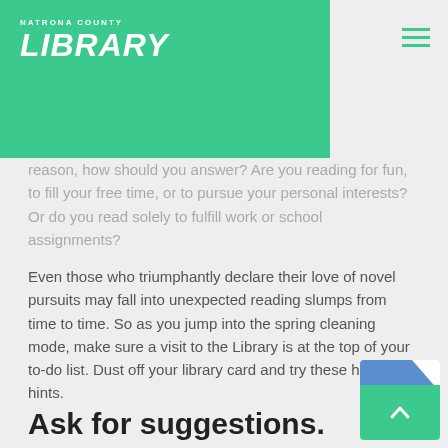[Figure (logo): Natrona County Library logo in white text on green background]
reason, how should you answer? Are you reading for fun, to fill your free time, or to pursue your personal interests? Or do you read solely to fulfill work or school assignments?
Even those who triumphantly declare their love of novel pursuits may fall into unexpected reading slumps from time to time. So as you jump into the spring cleaning mode, make sure a visit to the Library is at the top of your to-do list. Dust off your library card and try these helpful hints.
Ask for suggestions.